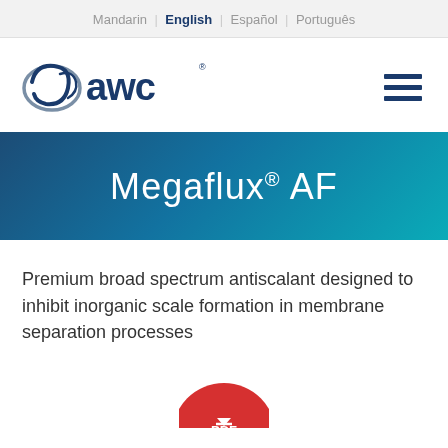Mandarin | English | Español | Português
[Figure (logo): AWC logo with stylized swirl and 'awc' text in dark blue]
Megaflux® AF
Premium broad spectrum antiscalant designed to inhibit inorganic scale formation in membrane separation processes
[Figure (illustration): Partial red circular PDF download button icon]